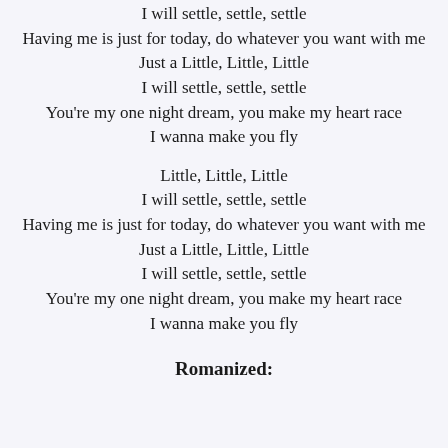I will settle, settle, settle
Having me is just for today, do whatever you want with me
Just a Little, Little, Little
I will settle, settle, settle
You're my one night dream, you make my heart race
I wanna make you fly
Little, Little, Little
I will settle, settle, settle
Having me is just for today, do whatever you want with me
Just a Little, Little, Little
I will settle, settle, settle
You're my one night dream, you make my heart race
I wanna make you fly
Romanized: